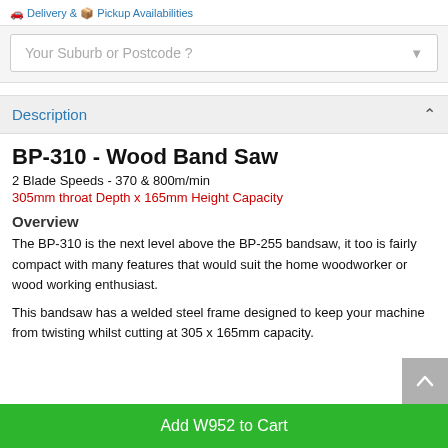Delivery & Pickup Availabilities
Your Suburb or Postcode ?
Description
BP-310 - Wood Band Saw
2 Blade Speeds - 370 & 800m/min
305mm throat Depth x 165mm Height Capacity
Overview
The BP-310 is the next level above the BP-255 bandsaw, it too is fairly compact with many features that would suit the home woodworker or wood working enthusiast.
This bandsaw has a welded steel frame designed to keep your machine from twisting whilst cutting at 305 x 165mm capacity.
Add W952 to Cart